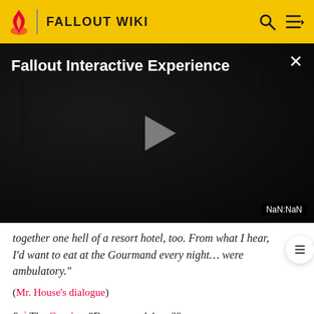FALLOUT WIKI
[Figure (screenshot): Fallout Interactive Experience video player with dark atmospheric screenshot, play button in center, close button top right, timestamp NaN:NaN bottom right]
together one hell of a resort hotel, too. From what I hear, I'd want to eat at the Gourmand every night... were ambulatory."
(Mr. House's dialogue)
6. ↑ The Courier: "Do you work here?"